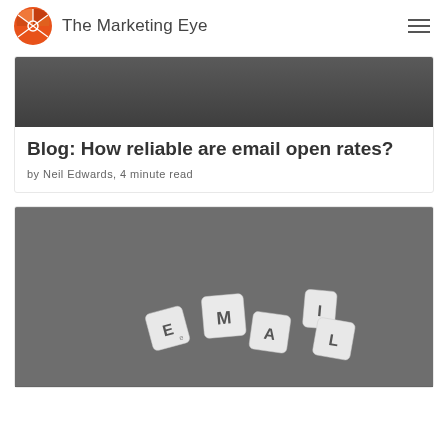The Marketing Eye
[Figure (photo): Dark gray background photo (top of article image)]
Blog: How reliable are email open rates?
by Neil Edwards, 4 minute read
[Figure (photo): Photo of scrabble-like letter tiles spelling EMAIL on a dark gray background]